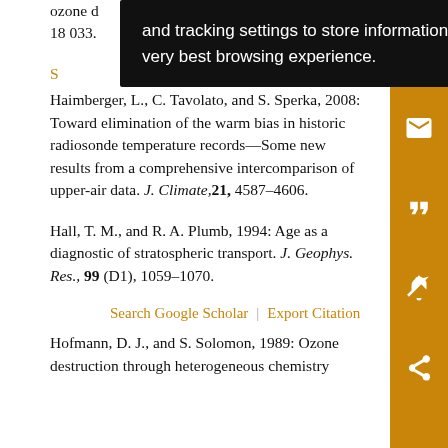ozone d… 15–18 033.
Haimberger, L., C. Tavolato, and S. Sperka, 2008: Toward elimination of the warm bias in historic radiosonde temperature records—Some new results from a comprehensive intercomparison of upper-air data. J. Climate, 21, 4587–4606.
Hall, T. M., and R. A. Plumb, 1994: Age as a diagnostic of stratospheric transport. J. Geophys. Res., 99 (D1), 1059–1070.
Search Google Scholar | Export Citation
Hofmann, D. J., and S. Solomon, 1989: Ozone destruction through heterogeneous chemistry…